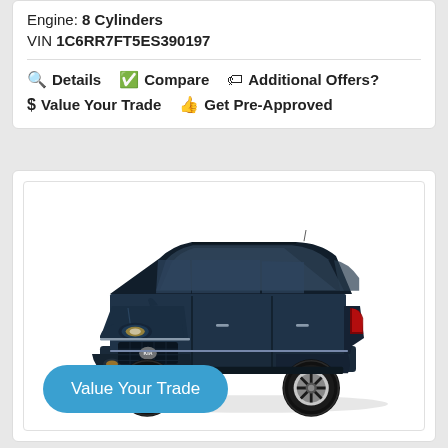Engine: 8 Cylinders
VIN 1C6RR7FT5ES390197
🔍 Details  ✅ Compare  🏷 Additional Offers?
$ Value Your Trade  👍 Get Pre-Approved
[Figure (photo): Dark navy blue Kia Sportage SUV shown in 3/4 front view on white background]
Value Your Trade